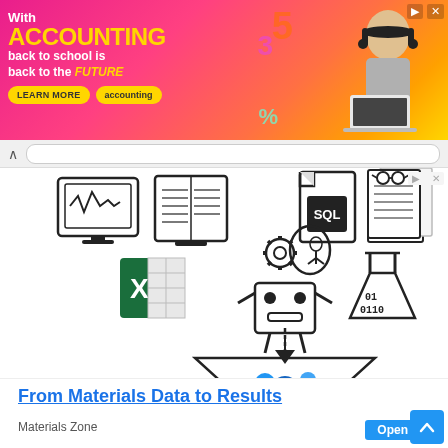[Figure (infographic): Advertisement banner: 'With ACCOUNTING back to school is back to the FUTURE' with colorful background, learn more button, accounting pill, and person with headphones]
[Figure (infographic): Data science infographic showing icons (monitor, book, SQL file, reading document, Excel, AI/robot, flask with binary code) funneling into a filter/funnel with blue molecular structure]
From Materials Data to Results
Materials Zone
Open